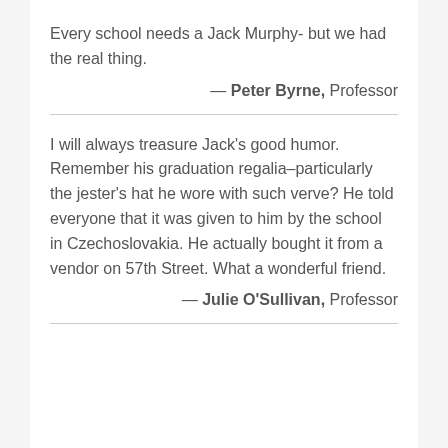Every school needs a Jack Murphy- but we had the real thing.
— Peter Byrne, Professor
I will always treasure Jack's good humor. Remember his graduation regalia–particularly the jester's hat he wore with such verve? He told everyone that it was given to him by the school in Czechoslovakia. He actually bought it from a vendor on 57th Street. What a wonderful friend.
— Julie O'Sullivan, Professor